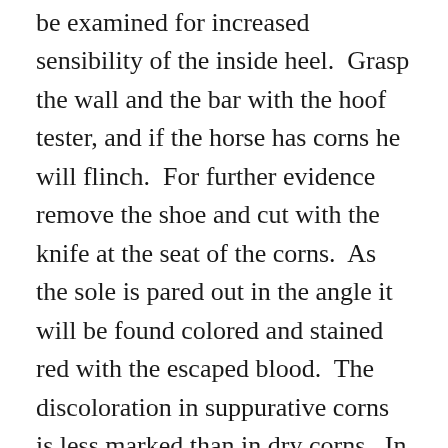be examined for increased sensibility of the inside heel. Grasp the wall and the bar with the hoof tester, and if the horse has corns he will flinch. For further evidence remove the shoe and cut with the knife at the seat of the corns. As the sole is pared out in the angle it will be found colored and stained red with the escaped blood. The discoloration in suppurative corns is less marked than in dry corns. In suppurative corns the horn is colored gray or white, stringy and often mealy. The difference between suppurative corns and other is that the inflammation in suppurative corns ends in suppuration. The pus collecting at the place of injury, escapes by working a way between the